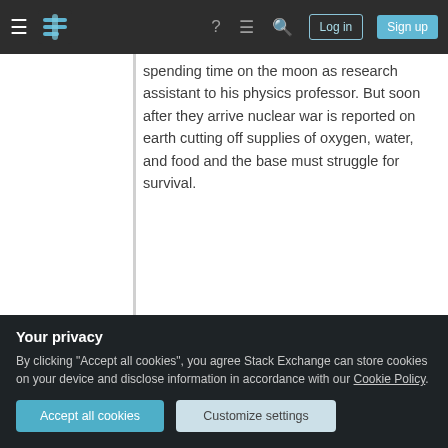≡ [Stack Exchange logo] ? ≡ 🔍 Log in Sign up
spending time on the moon as research assistant to his physics professor. But soon after they arrive nuclear war is reported on earth cutting off supplies of oxygen, water, and food and the base must struggle for survival.
Book Review
Share
edited Sep 17, 2015 at 10:14
Your privacy
By clicking "Accept all cookies", you agree Stack Exchange can store cookies on your device and disclose information in accordance with our Cookie Policy.
Accept all cookies
Customize settings